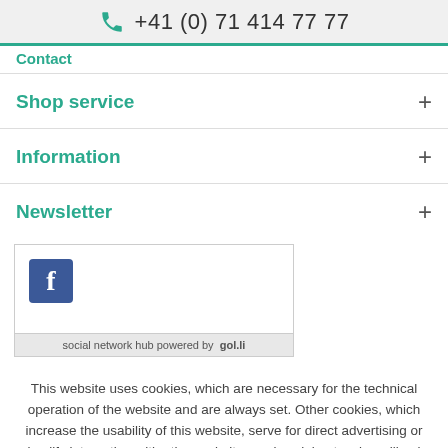+41 (0) 71 414 77 77
Shop service
Information
Newsletter
[Figure (screenshot): Facebook social network icon in a bordered widget box with footer text 'social network hub powered by gol.li']
This website uses cookies, which are necessary for the technical operation of the website and are always set. Other cookies, which increase the usability of this website, serve for direct advertising or simplify interaction with other websites and social networks, will only be used with your consent.
Decline | Accept all | Configure